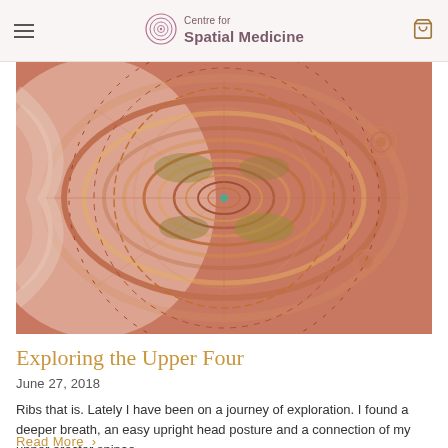Centre for Spatial Medicine
[Figure (photo): Abstract fractal art with spiral patterns in red, pink, gold, and green tones resembling organic structures]
Exploring the Upper Four
June 27, 2018
Ribs that is. Lately I have been on a journey of exploration. I found a deeper breath, an easy upright head posture and a connection of my upper erector spinae...
Read More >